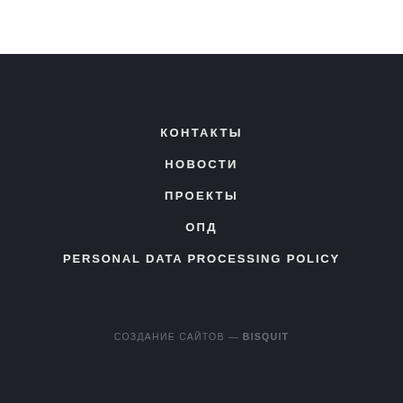КОНТАКТЫ
НОВОСТИ
ПРОЕКТЫ
ОПД
PERSONAL DATA PROCESSING POLICY
СОЗДАНИЕ САЙТОВ — BISQUIT